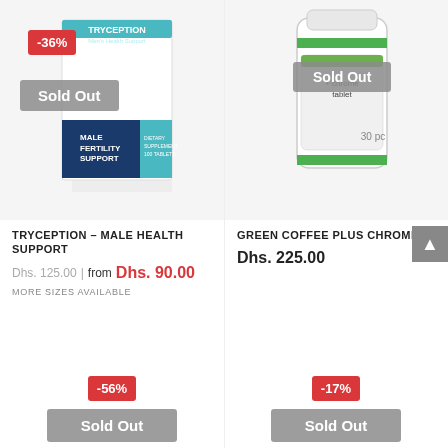[Figure (photo): Product image of TRYCEPTION Male Health Support supplement box with -36% discount badge and Sold Out overlay]
[Figure (photo): Product image of Green Coffee Plus Chrome supplement bottle with Sold Out overlay]
TRYCEPTION – MALE HEALTH SUPPORT
Dhs. 125.00 | from Dhs. 90.00
MORE SIZES AVAILABLE
GREEN COFFEE PLUS CHROME
Dhs. 225.00
[Figure (photo): Partial product image with -56% discount badge and Sold Out overlay]
[Figure (photo): Partial product image with -17% discount badge and Sold Out overlay]